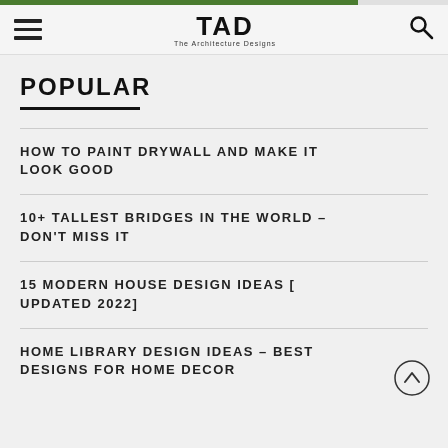TAD — The Architecture Designs
POPULAR
HOW TO PAINT DRYWALL AND MAKE IT LOOK GOOD
10+ TALLEST BRIDGES IN THE WORLD – DON'T MISS IT
15 MODERN HOUSE DESIGN IDEAS [ UPDATED 2022]
HOME LIBRARY DESIGN IDEAS – BEST DESIGNS FOR HOME DECOR